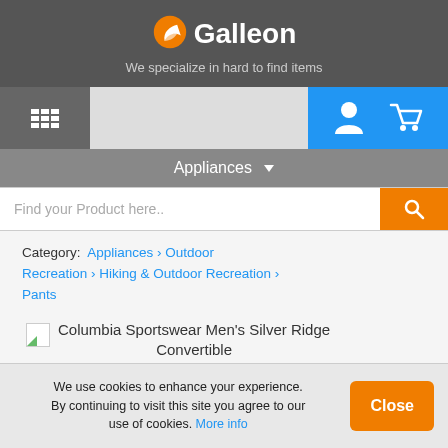Galleon — We specialize in hard to find items
[Figure (screenshot): Navigation bar with grid/menu icon on left, user account and cart icons on blue background on right]
Appliances ▼
Find your Product here..
Category: Appliances › Outdoor Recreation › Hiking & Outdoor Recreation › Pants
Columbia Sportswear Men's Silver Ridge Convertible
We use cookies to enhance your experience. By continuing to visit this site you agree to our use of cookies. More info